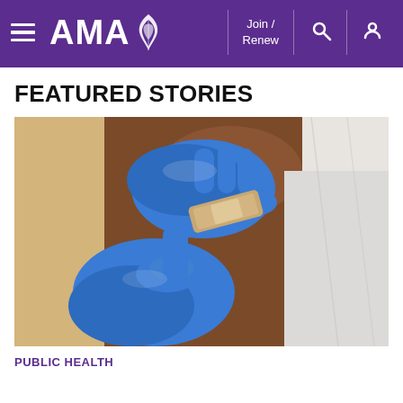AMA — Join / Renew
FEATURED STORIES
[Figure (photo): Close-up photo of a healthcare worker in blue latex gloves applying a bandage to a person's upper arm after vaccination]
PUBLIC HEALTH